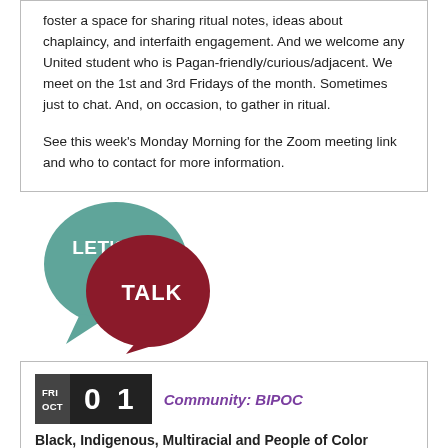foster a space for sharing ritual notes, ideas about chaplaincy, and interfaith engagement. And we welcome any United student who is Pagan-friendly/curious/adjacent. We meet on the 1st and 3rd Fridays of the month. Sometimes just to chat. And, on occasion, to gather in ritual.

See this week's Monday Morning for the Zoom meeting link and who to contact for more information.
[Figure (logo): Two overlapping speech bubbles — a teal/green bubble on the left with white text 'LET'S' and a dark red/crimson bubble on the right with white text 'TALK']
FRI OCT 01 Community: BIPOC
Black, Indigenous, Multiracial and People of Color